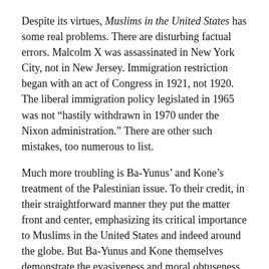Despite its virtues, Muslims in the United States has some real problems. There are disturbing factual errors. Malcolm X was assassinated in New York City, not in New Jersey. Immigration restriction began with an act of Congress in 1921, not 1920. The liberal immigration policy legislated in 1965 was not “hastily withdrawn in 1970 under the Nixon administration.” There are other such mistakes, too numerous to list.
Much more troubling is Ba-Yunus’ and Kone’s treatment of the Palestinian issue. To their credit, in their straightforward manner they put the matter front and center, emphasizing its critical importance to Muslims in the United States and indeed around the globe. But Ba-Yunus and Kone themselves demonstrate the evasiveness and moral obtuseness about this topic that Barrett highlights. At one point, they bizarrely equate Saddam Hussein with the Israelis:
Saddam Hussein was a bad man, we were told, because, among other things, he broke at least a dozen U.N. resolutions. How many U.N. resolutions did Israel choose to ignore during the